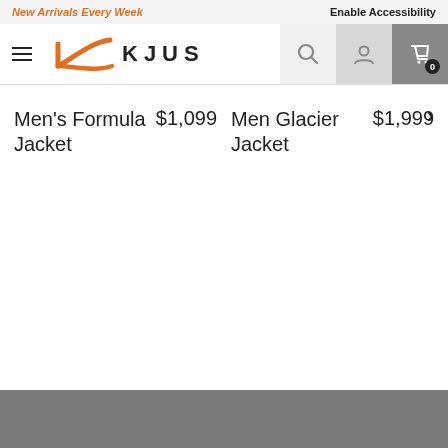New Arrivals Every Week | Enable Accessibility
[Figure (logo): KJUS brand logo with orange swoosh K graphic and KJUS wordmark]
Men's Formula Jacket  $1,099
Men Glacier Jacket  $1,999
[Figure (other): Horizontal scroll progress bar indicator]